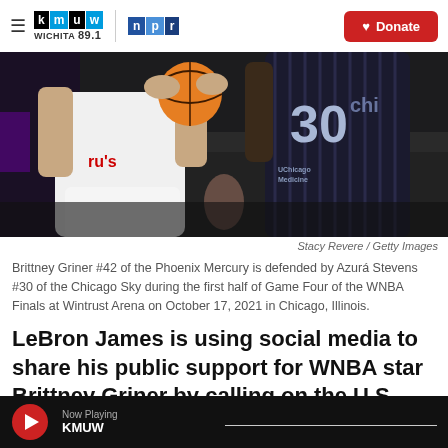KMUW Wichita 89.1 | NPR | Donate
[Figure (photo): Brittney Griner #42 of the Phoenix Mercury in white uniform holding a basketball, defended by Azurá Stevens #30 of the Chicago Sky in dark uniform with 'UChicago Medicine' on jersey, during a WNBA game.]
Stacy Revere / Getty Images
Brittney Griner #42 of the Phoenix Mercury is defended by Azurá Stevens #30 of the Chicago Sky during the first half of Game Four of the WNBA Finals at Wintrust Arena on October 17, 2021 in Chicago, Illinois.
LeBron James is using social media to share his public support for WNBA star Brittney Griner by calling on the U.S. government to bring the
Now Playing KMUW